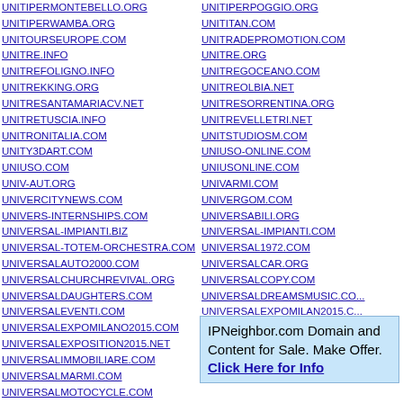UNITIPERMONTEBELLO.ORG
UNITIPERWAMBA.ORG
UNITOURSEUROPE.COM
UNITRE.INFO
UNITREFOLIGNO.INFO
UNITREKKING.ORG
UNITRESANTAMARIACV.NET
UNITRETUSCIA.INFO
UNITRONITALIA.COM
UNITY3DART.COM
UNIUSO.COM
UNIV-AUT.ORG
UNIVERCITYNEWS.COM
UNIVERS-INTERNSHIPS.COM
UNIVERSAL-IMPIANTI.BIZ
UNIVERSAL-TOTEM-ORCHESTRA.COM
UNIVERSALAUTO2000.COM
UNIVERSALCHURCHREVIVAL.ORG
UNIVERSALDAUGHTERS.COM
UNIVERSALEVENTI.COM
UNIVERSALEXPOMILANO2015.COM
UNIVERSALEXPOSITION2015.NET
UNIVERSALIMMOBILIARE.COM
UNIVERSALMARMI.COM
UNIVERSALMOTOCYCLE.COM
UNIVERSALPULIZIE.COM
UNIVERSALSMOKE.COM
UNIVERSALSYMPHONYORCHESTRA.COM
UNITIPERPOGGIO.ORG
UNITITAN.COM
UNITRADEPROMOTION.COM
UNITRE.ORG
UNITREGOCEANO.COM
UNITREOLBIA.NET
UNITRESORRENTINA.ORG
UNITREVELLETRI.NET
UNITSTUDIOSM.COM
UNIUSO-ONLINE.COM
UNIUSONLINE.COM
UNIVARMI.COM
UNIVERGOM.COM
UNIVERSABILI.ORG
UNIVERSAL-IMPIANTI.COM
UNIVERSAL1972.COM
UNIVERSALCAR.ORG
UNIVERSALCOPY.COM
UNIVERSALDREAMSMUSIC.COM
UNIVERSALEXPOMILAN2015.COM
UNIVERSALEXPOMILANO2015.NET
UNIVERSALEXPOSITION2015.COM
UNIVERSALJOINTSHAFT.NET
IPNeighbor.com Domain and Content for Sale. Make Offer. Click Here for Info